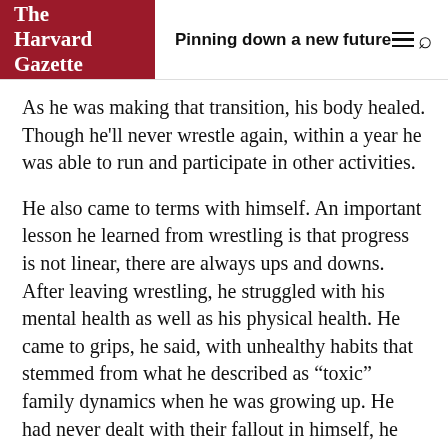The Harvard Gazette | Pinning down a new future
As he was making that transition, his body healed. Though he'll never wrestle again, within a year he was able to run and participate in other activities.
He also came to terms with himself. An important lesson he learned from wrestling is that progress is not linear, there are always ups and downs. After leaving wrestling, he struggled with his mental health as well as his physical health. He came to grips, he said, with unhealthy habits that stemmed from what he described as “toxic” family dynamics when he was growing up. He had never dealt with their fallout in himself, he said, until he saw that they were harming his relationships on campus.
While Wang was healing, he was also exploring.